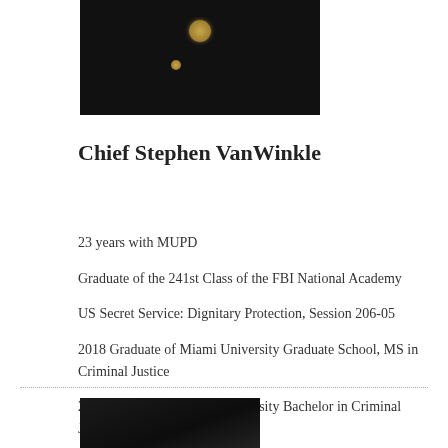[Figure (photo): Photo of Chief Stephen VanWinkle in uniform]
Chief Stephen VanWinkle
23 years with MUPD
Graduate of the 241st Class of the FBI National Academy
US Secret Service: Dignitary Protection, Session 206-05
2018 Graduate of Miami University Graduate School, MS in Criminal Justice
2014 Graduate of Miami University Bachelor in Criminal Justice
2009 Graduate of Miami University Associates in Applied Science
2006 Graduate of NW University School of Police Staff and Command
Senior Lean Leader
[Figure (photo): Partial photo at bottom of page]